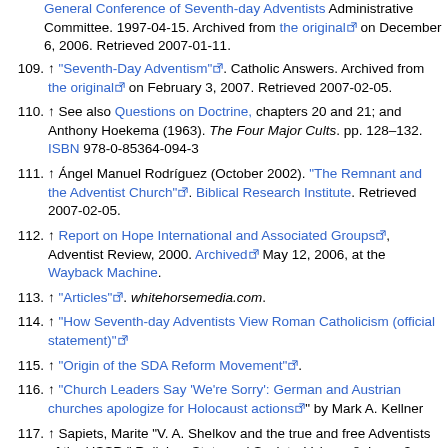General Conference of Seventh-day Adventists Administrative Committee. 1997-04-15. Archived from the original on December 6, 2006. Retrieved 2007-01-11.
109. ↑ "Seventh-Day Adventism". Catholic Answers. Archived from the original on February 3, 2007. Retrieved 2007-02-05.
110. ↑ See also Questions on Doctrine, chapters 20 and 21; and Anthony Hoekema (1963). The Four Major Cults. pp. 128–132. ISBN 978-0-85364-094-3
111. ↑ Ángel Manuel Rodríguez (October 2002). "The Remnant and the Adventist Church". Biblical Research Institute. Retrieved 2007-02-05.
112. ↑ Report on Hope International and Associated Groups, Adventist Review, 2000. Archived May 12, 2006, at the Wayback Machine.
113. ↑ "Articles". whitehorsemedia.com.
114. ↑ "How Seventh-day Adventists View Roman Catholicism (official statement)"
115. ↑ "Origin of the SDA Reform Movement".
116. ↑ "Church Leaders Say 'We're Sorry': German and Austrian churches apologize for Holocaust actions" by Mark A. Kellner
117. ↑ Sapiets, Marite "V. A. Shelkov and the true and free Adventists of the USSR," Religion, State and Society, Volume 8, Issue 3 1980 , pp. 201–217.